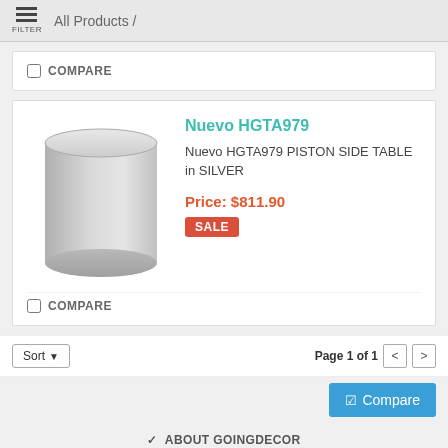FILTER  All Products /
COMPARE
[Figure (photo): A silver/grey cylindrical piston side table product image on white background]
Nuevo HGTA979
Nuevo HGTA979 PISTON SIDE TABLE in SILVER
Price: $811.90
SALE
COMPARE
Sort ▾   Page 1 of 1  < >
✓ Compare
∨ ABOUT GOINGDECOR
∨ CUSTOMER SERVICE